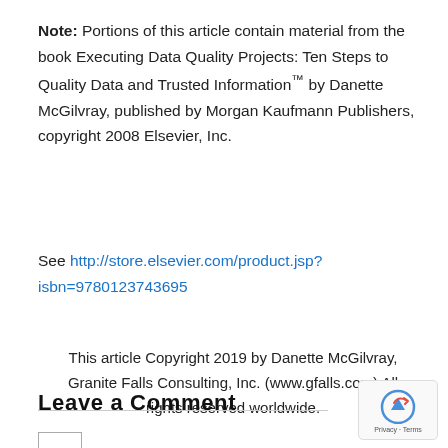Note: Portions of this article contain material from the book Executing Data Quality Projects: Ten Steps to Quality Data and Trusted Information™ by Danette McGilvray, published by Morgan Kaufmann Publishers, copyright 2008 Elsevier, Inc.
See http://store.elsevier.com/product.jsp?isbn=9780123743695
This article Copyright 2019 by Danette McGilvray, Granite Falls Consulting, Inc. (www.gfalls.com) All rights reserved worldwide.
Leave a Comment